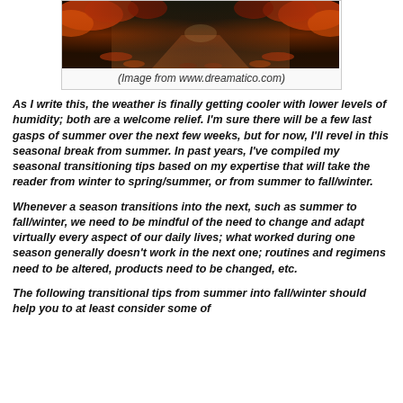[Figure (photo): Autumn tree-lined path covered with fallen red and orange leaves]
(Image from www.dreamatico.com)
As I write this, the weather is finally getting cooler with lower levels of humidity; both are a welcome relief.  I'm sure there will be a few last gasps of summer over the next few weeks, but for now, I'll revel in this seasonal break from summer.  In past years, I've compiled my seasonal transitioning tips based on my expertise that will take the reader from winter to spring/summer, or from summer to fall/winter.
Whenever a season transitions into the next, such as summer to fall/winter, we need to be mindful of the need to change and adapt virtually every aspect of our daily lives; what worked during one season generally doesn't work in the next one; routines and regimens need to be altered, products need to be changed, etc.
The following transitional tips from summer into fall/winter should help you to at least consider some of